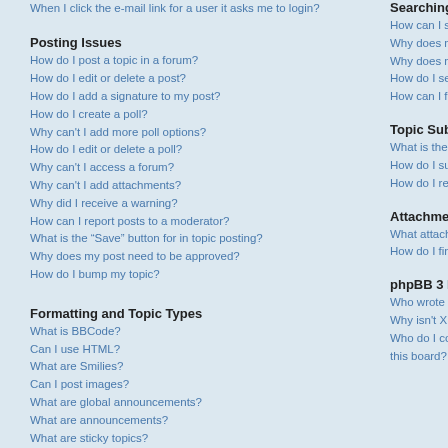When I click the e-mail link for a user it asks me to login?
Posting Issues
How do I post a topic in a forum?
How do I edit or delete a post?
How do I add a signature to my post?
How do I create a poll?
Why can't I add more poll options?
How do I edit or delete a poll?
Why can't I access a forum?
Why can't I add attachments?
Why did I receive a warning?
How can I report posts to a moderator?
What is the “Save” button for in topic posting?
Why does my post need to be approved?
How do I bump my topic?
Formatting and Topic Types
What is BBCode?
Can I use HTML?
What are Smilies?
Can I post images?
What are global announcements?
What are announcements?
What are sticky topics?
What are locked topics?
What are topic icons?
Searching the Foru
How can I search a
Why does my searc
Why does my searc
How do I search for
How can I find my o
Topic Subscription
What is the differenc
How do I subscribe
How do I remove my
Attachments
What attachments a
How do I find all my
phpBB 3 Issues
Who wrote this bulle
Why isn't X feature a
Who do I contact ab this board?